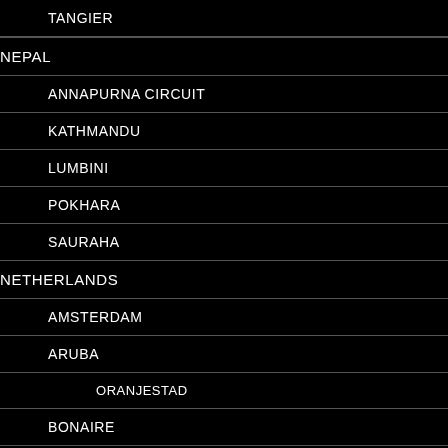TANGIER
NEPAL
ANNAPURNA CIRCUIT
KATHMANDU
LUMBINI
POKHARA
SAURAHA
NETHERLANDS
AMSTERDAM
ARUBA
ORANJESTAD
BONAIRE